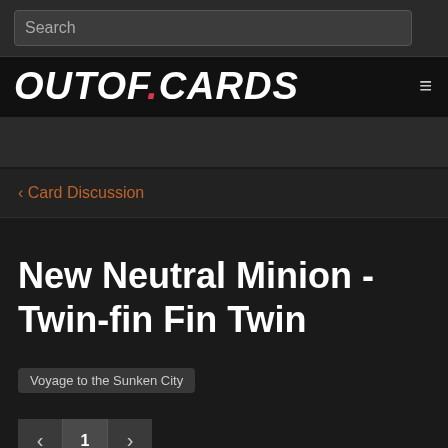Search
[Figure (logo): OUTOF.CARDS logo in bold white italic uppercase text with a red dot before CARDS, and a hamburger menu icon on the right]
< Card Discussion
New Neutral Minion - Twin-fin Fin Twin
Voyage to the Sunken City
< 1 >